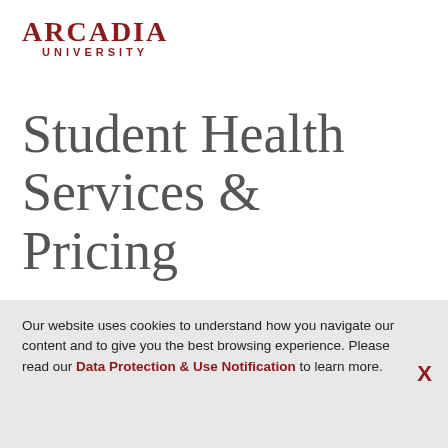ARCADIA UNIVERSITY
Student Health Services & Pricing
As of August 2021. Fees are subject to change.
Please Note: Student Health Services does not bill health insurance for office visits, medications dispensed from the office, immunizations administered in the office, or in-office rapid
Our website uses cookies to understand how you navigate our content and to give you the best browsing experience. Please read our Data Protection & Use Notification to learn more.